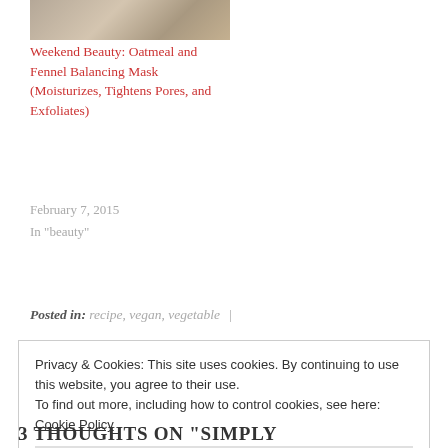[Figure (photo): Partial image of food/beauty item at top of page]
Weekend Beauty: Oatmeal and Fennel Balancing Mask (Moisturizes, Tightens Pores, and Exfoliates)
February 7, 2015
In "beauty"
Posted in: recipe, vegan, vegetable |
Tagged: easy, fennel, healthy, plant based, recipe, roasted, side dish, simple, vegan
Privacy & Cookies: This site uses cookies. By continuing to use this website, you agree to their use.
To find out more, including how to control cookies, see here: Cookie Policy
Close and accept
3 THOUGHTS ON "SIMPLY